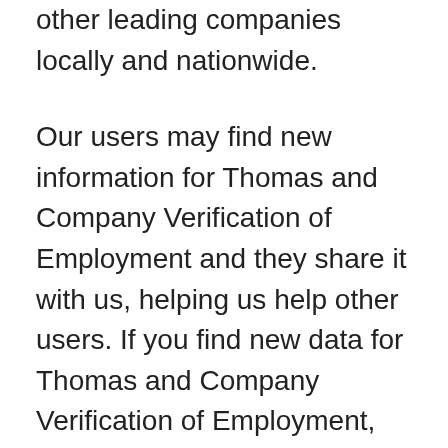other leading companies locally and nationwide.
Our users may find new information for Thomas and Company Verification of Employment and they share it with us, helping us help other users. If you find new data for Thomas and Company Verification of Employment, we would appreciate if you dropped us a quick message via the contact us page form or the comments form below.
We always make sure to confirm any new information fast and publish it for free for the benefits of you and all users who need to get